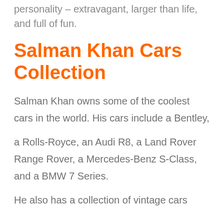personality – extravagant, larger than life, and full of fun.
Salman Khan Cars Collection
Salman Khan owns some of the coolest cars in the world. His cars include a Bentley,
a Rolls-Royce, an Audi R8, a Land Rover Range Rover, a Mercedes-Benz S-Class, and a BMW 7 Series.
He also has a collection of vintage cars